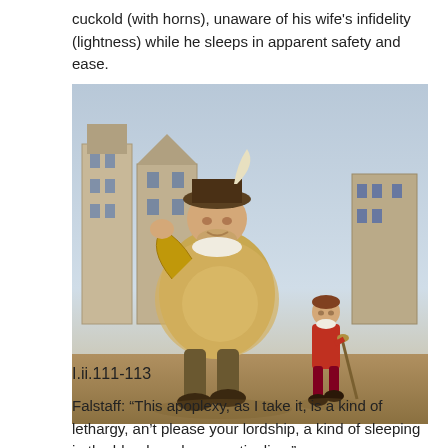cuckold (with horns), unaware of his wife's infidelity (lightness) while he sleeps in apparent safety and ease.
[Figure (illustration): Painting of a large rotund man in period costume (Falstaff-like figure) walking with a much smaller child-sized figure in red costume, set against a European townscape background.]
I.ii.111-113
Falstaff: “This apoplexy, as I take it, is a kind of lethargy, an’t please your lordship, a kind of sleeping in the blood, a whoreson tingling.”
The Chief Justice has just entered the scene, and he demands to speak with Sir John about his criminal